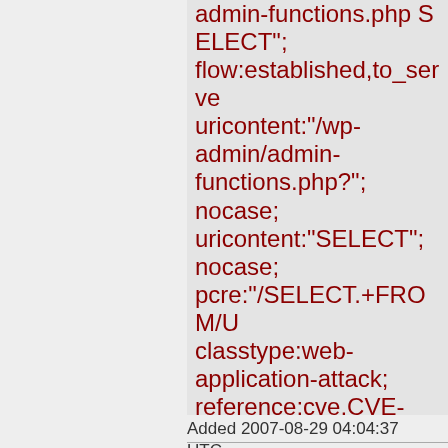admin-functions.php SELECT"; flow:established,to_server; uricontent:"/wp-admin/admin-functions.php?"; nocase; uricontent:"SELECT"; nocase; pcre:"/SELECT.+FROM/U classtype:web-application-attack; reference:cve,CVE-2007-1409; reference:url,www.secunia sid:2004403; rev:2;)
Added 2007-08-29 04:04:37 UTC